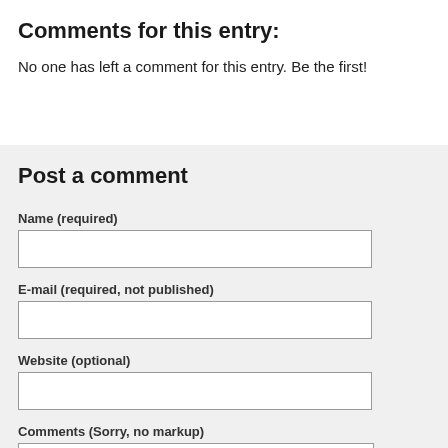Comments for this entry:
No one has left a comment for this entry. Be the first!
Post a comment
Name (required)
E-mail (required, not published)
Website (optional)
Comments (Sorry, no markup)